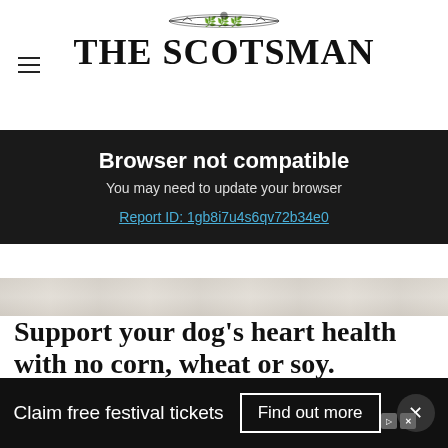THE SCOTSMAN
Browser not compatible
You may need to update your browser
Report ID: 1gb8i7u4s6qv72b34e0
[Figure (photo): Blurred background image strip]
Support your dog’s heart health with no corn, wheat or soy.
Hill's Pet
[Figure (screenshot): Advertisement banner: Acuerdo de la demanda colectiva por $82 Millones. SI USTED COMPRO O ARRENDO UN AUTOMOVIL O CAMION NUEVO EN CALIFORNIA DESDE 2001 A 2003. PRESENTE SU RECLAMO AHORA]
Claim free festival tickets
Find out more